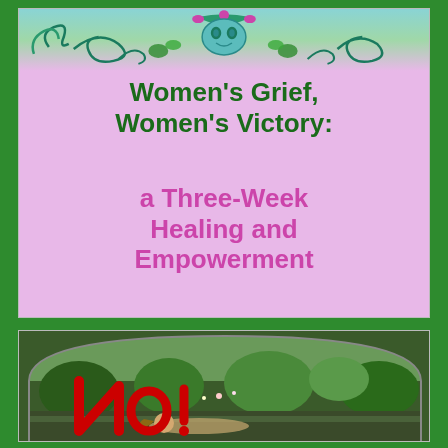[Figure (illustration): Decorative floral/scroll teal and green ornament banner at the top of the pink card]
Women’s Grief, Women’s Victory: a Three-Week Healing and Empowerment
[Figure (photo): Garden scene with a figure lying down, large red letters 'No!' overlaid, in an arched frame]